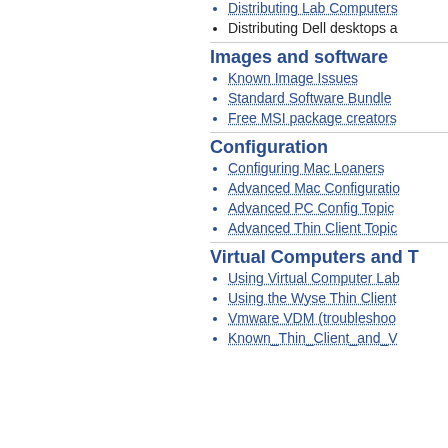Distributing Lab Computers
Distributing Dell desktops a
Images and software
Known Image Issues
Standard Software Bundle
Free MSI package creators
Configuration
Configuring Mac Loaners
Advanced Mac Configuratio
Advanced PC Config Topic
Advanced Thin Client Topic
Virtual Computers and T
Using Virtual Computer Lab
Using the Wyse Thin Client
Vmware VDM (troubleshoo
Known_Thin_Client_and_V